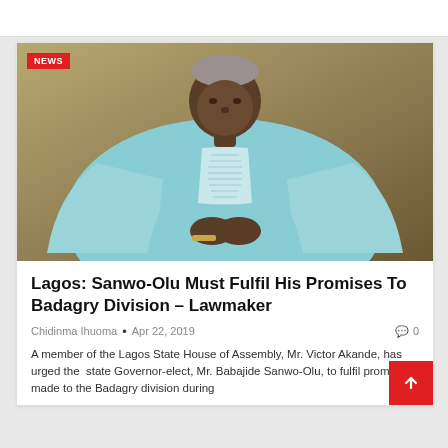[Figure (photo): A man wearing a light blue traditional Nigerian agbada (flowing robe) with embroidered chest panel, standing against a muted tan/olive background. He has grey hair and is wearing a bracelet. His hands are clasped in front of him. A red NEWS badge overlays the top-left corner of the image.]
Lagos: Sanwo-Olu Must Fulfil His Promises To Badagry Division – Lawmaker
Chidinma Ihuoma • Apr 22, 2019 • 0
A member of the Lagos State House of Assembly, Mr. Victor Akande, has urged the state Governor-elect, Mr. Babajide Sanwo-Olu, to fulfil promises made to the Badagry division during...